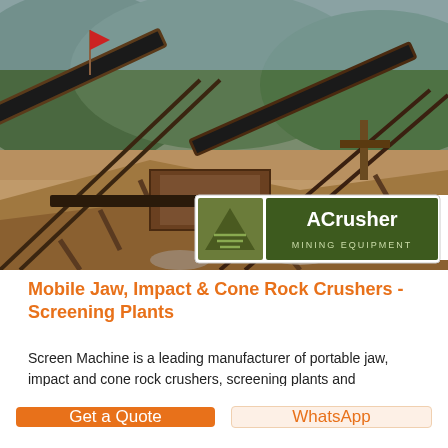[Figure (photo): Aerial/elevated view of a mining and rock crushing facility with conveyor belts, steel structures, and mountains in the background. An ACrusher Mining Equipment logo is overlaid in the lower right of the photo. A LIVE CHAT bubble appears in the upper right corner.]
Mobile Jaw, Impact & Cone Rock Crushers - Screening Plants
Screen Machine is a leading manufacturer of portable jaw, impact and cone rock crushers, screening plants and trommels, and a global leader in design and innovation within
Get a Quote
WhatsApp